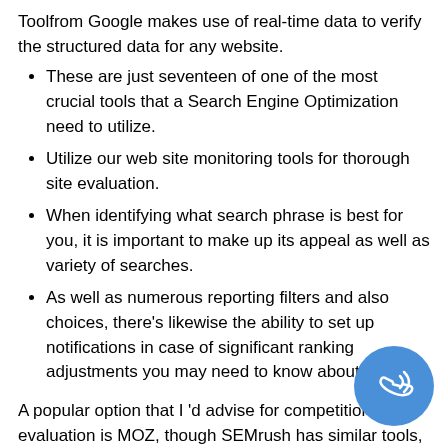Toolfrom Google makes use of real-time data to verify the structured data for any website.
These are just seventeen of one of the most crucial tools that a Search Engine Optimization need to utilize.
Utilize our web site monitoring tools for thorough site evaluation.
When identifying what search phrase is best for you, it is important to make up its appeal as well as variety of searches.
As well as numerous reporting filters and also choices, there's likewise the ability to set up notifications in case of significant ranking adjustments you may need to know about.
A popular option that I 'd advise for competition evaluation is MOZ, though SEMrush has similar tools, also. I frequently recommend that people aiming to discover their ideal toolbelt begin with both and see which fit their needs comprehending more. This style of plugin is very easy and also comprehend, so you don't need to be a Search
[Figure (illustration): Blue circular phone/call button icon in the bottom right corner of the page]